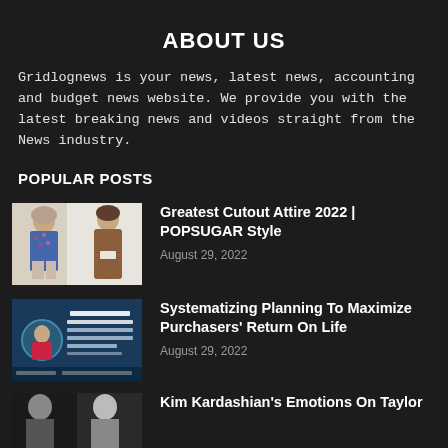ABOUT US
Gridlognews is your news, latest news, accounting and budget news website. We provide you with the latest breaking news and videos straight from the News industry.
POPULAR POSTS
[Figure (photo): Two women modeling fashion outfits - one in floral dress, one in brown cutout dress]
Greatest Cutout Attire 2022 | POPSUGAR Style
August 29, 2022
[Figure (screenshot): Podcast episode cover - Ep. 295: Systematizing A Planning Process To Maximize The Return On Life For Clients, with Sheri Greco Reichley]
Systematizing Planning To Maximize Purchasers' Return On Life
August 29, 2022
[Figure (photo): Two women photographed from below waist up - partial image]
Kim Kardashian's Emotions On Taylor